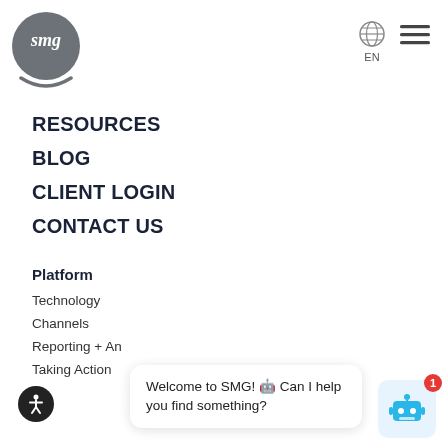[Figure (logo): SMG circular logo in dark gray with stylized 'smg' text and a bowl/arc shape below]
[Figure (other): Globe icon with EN language selector and hamburger menu icon]
RESOURCES
BLOG
CLIENT LOGIN
CONTACT US
Platform
Technology
Channels
Reporting + An
Taking Action
[Figure (other): Accessibility icon button (person in wheelchair) black circle]
[Figure (other): Close (X) button on chat bubble]
Welcome to SMG! 🤖 Can I help you find something?
[Figure (other): Blue robot chatbot icon with notification badge showing 1]